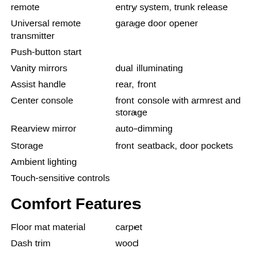remote | entry system, trunk release
Universal remote transmitter | garage door opener
Push-button start
Vanity mirrors | dual illuminating
Assist handle | rear, front
Center console | front console with armrest and storage
Rearview mirror | auto-dimming
Storage | front seatback, door pockets
Ambient lighting
Touch-sensitive controls
Comfort Features
Floor mat material | carpet
Dash trim | wood